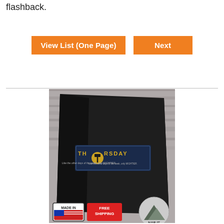flashback.
View List (One Page)
Next
[Figure (photo): A folded black t-shirt with 'THORSDAY' logo on it, styled with a dark blue rectangular badge and a hammer icon. Below the shirt are partial badges reading 'Made In', 'Free Shipping', and 'Nab It'.]